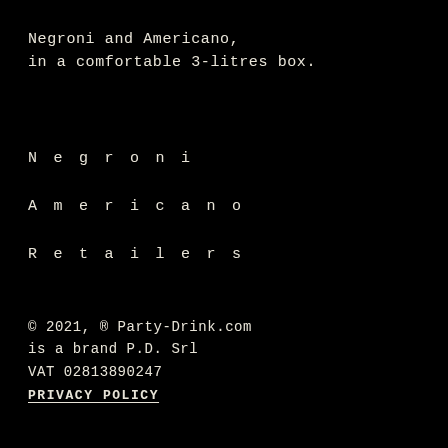Negroni and Americano,
in a comfortable 3-litres box.
Negroni
Americano
Retailers
© 2021, ® Party-Drink.com
is a brand P.D. Srl
VAT 02813890247
PRIVACY POLICY